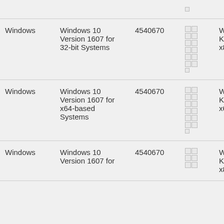| Platform | Product | KB | Flags | File |
| --- | --- | --- | --- | --- |
| Windows | Windows 10 Version 1607 for 32-bit Systems | 4540670 | □□ □□ □□ □□ □□ □□ □ | Windo KB454 x86.ms |
| Windows | Windows 10 Version 1607 for x64-based Systems | 4540670 | □□ □□ □□ □□ □□ □□ □ | Windo KB454 x64.ms |
| Windows | Windows 10 Version 1607 for x86-based Systems (partial) | 4540670 | □□ □□ □□ | Windo KB454 x86.ms |